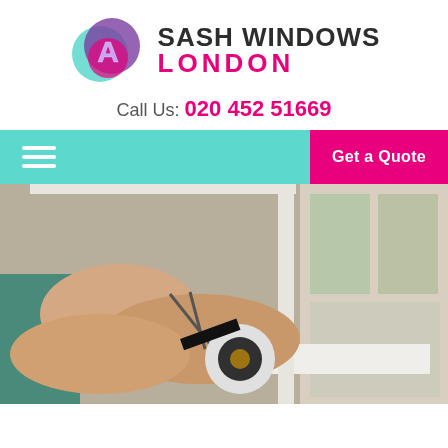[Figure (logo): Sash Windows London logo with circular gradient icon (teal, purple, pink) with letter A, company name SASH WINDOWS in dark bold and LONDON in pink]
Call Us: 020 452 51669
[Figure (screenshot): Navigation bar with teal background, hamburger menu icon on left, and pink Get a Quote button on right]
[Figure (photo): Person applying weatherstripping tape to a sash window sill, holding scissors and a roll of black foam tape]